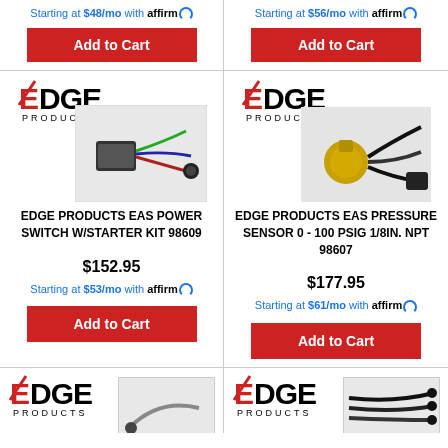Starting at $48/mo with affirm
Add to Cart
Starting at $56/mo with affirm
Add to Cart
[Figure (photo): Edge Products EAS Power Switch w/Starter Kit product photo with wiring harness and connectors, with Edge Products logo]
EDGE PRODUCTS EAS POWER SWITCH W/STARTER KIT 98609
$152.95
Starting at $53/mo with affirm
Add to Cart
[Figure (photo): Edge Products EAS Pressure Sensor product photo with gold sensor and wiring harness, with Edge Products logo]
EDGE PRODUCTS EAS PRESSURE SENSOR 0 - 100 PSIG 1/8IN. NPT 98607
$177.95
Starting at $61/mo with affirm
Add to Cart
[Figure (photo): Edge Products product with curved wire/sensor, with Edge Products logo (partially visible bottom-left)]
[Figure (photo): Edge Products product with multiple cables/wiring, with Edge Products logo (partially visible bottom-right)]